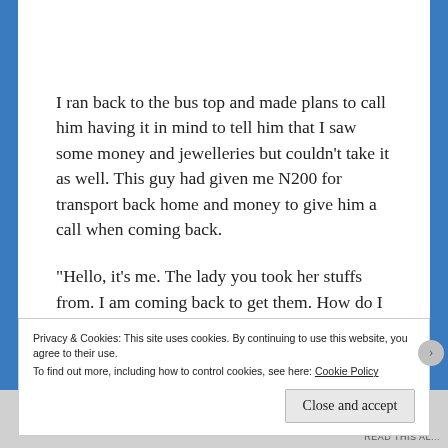I ran back to the bus top and made plans to call him having it in mind to tell him that I saw some money and jewelleries but couldn't take it as well. This guy had given me N200 for transport back home and money to give him a call when coming back.
“Hello, it’s me. The lady you took her stuffs from. I am coming back to get them. How do I get to your place?”
Privacy & Cookies: This site uses cookies. By continuing to use this website, you agree to their use.
To find out more, including how to control cookies, see here: Cookie Policy